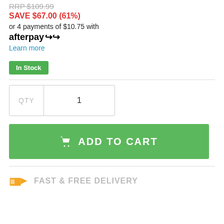RRP $109.99 (strikethrough)
SAVE $67.00 (61%)
or 4 payments of $10.75 with afterpay
Learn more
In Stock
QTY 1
ADD TO CART
FAST & FREE DELIVERY